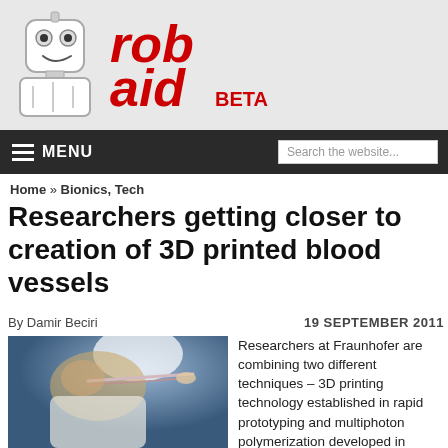[Figure (logo): Robaid website logo with robot illustration and red stylized 'robaid' text with BETA label]
MENU   Search the website...
Home » Bionics, Tech
Researchers getting closer to creation of 3D printed blood vessels
By Damir Beciri   19 SEPTEMBER 2011
[Figure (photo): Researcher holding a thin tube or blood vessel sample, blurred background with blue lighting]
Researchers at Fraunhofer are combining two different techniques – 3D printing technology established in rapid prototyping and multiphoton polymerization developed in polymer science – in order to create artificial blood vessels. Aside creating artificial blood vessels that could be used to